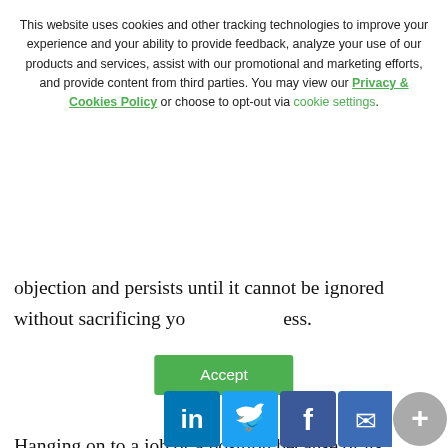This website uses cookies and other tracking technologies to improve your experience and your ability to provide feedback, analyze your use of our products and services, assist with our promotional and marketing efforts, and provide content from third parties. You may view our Privacy & Cookies Policy or choose to opt-out via cookie settings.
objection and persists until it cannot be ignored without sacrificing yo[ur happiness].
Hanging on to a job or a position because of its potential you can see in it, sacrificing your own contentedness and value satisfaction in your work is not a healthy choice to make. There will always be a positive correlation between our values and job satisfaction. Seeking out a common denominator between your v[alues] and...